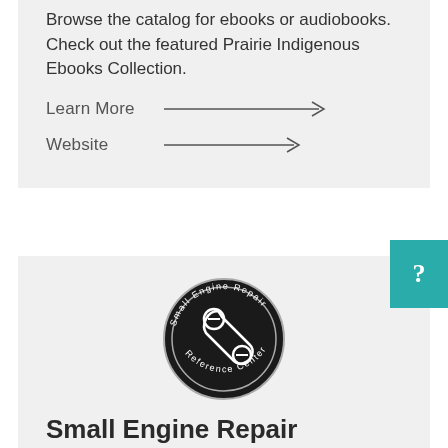Browse the catalog for ebooks or audiobooks. Check out the featured Prairie Indigenous Ebooks Collection.
Learn More →
Website →
[Figure (logo): Small Engine Repair Reference Center circular badge logo with wrench icon]
Small Engine Repair
ATVs, commercial mowers, farm tractors, generators, motorcycles, boats, snow blowers, and other small engines. This is an